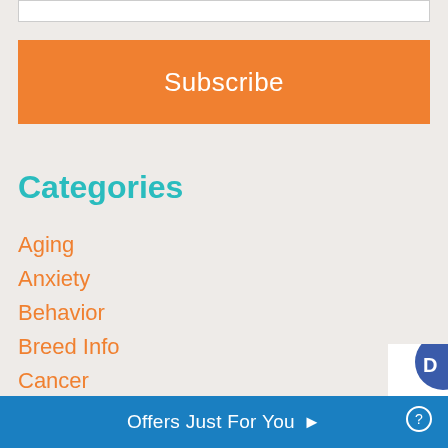Subscribe
Categories
Aging
Anxiety
Behavior
Breed Info
Cancer
Canna-Pet
CBD Health
CBD Nutritional Science
Offers Just For You ▶